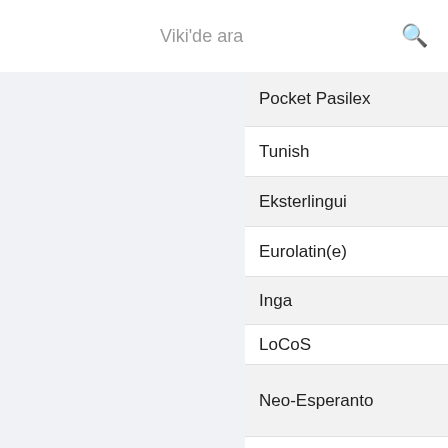Viki'de ara
Pocket Pasilex
Tunish
Eksterlingui
Eurolatin(e)
Inga
LoCoS
Neo-Esperanto
Oeropi
Sputnik